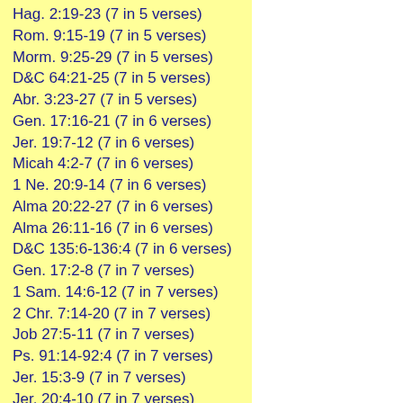Hag. 2:19-23 (7 in 5 verses)
Rom. 9:15-19 (7 in 5 verses)
Morm. 9:25-29 (7 in 5 verses)
D&C 64:21-25 (7 in 5 verses)
Abr. 3:23-27 (7 in 5 verses)
Gen. 17:16-21 (7 in 6 verses)
Jer. 19:7-12 (7 in 6 verses)
Micah 4:2-7 (7 in 6 verses)
1 Ne. 20:9-14 (7 in 6 verses)
Alma 20:22-27 (7 in 6 verses)
Alma 26:11-16 (7 in 6 verses)
D&C 135:6-136:4 (7 in 6 verses)
Gen. 17:2-8 (7 in 7 verses)
1 Sam. 14:6-12 (7 in 7 verses)
2 Chr. 7:14-20 (7 in 7 verses)
Job 27:5-11 (7 in 7 verses)
Ps. 91:14-92:4 (7 in 7 verses)
Jer. 15:3-9 (7 in 7 verses)
Jer. 20:4-10 (7 in 7 verses)
Jer. 31:8-14 (7 in 7 verses)
Nahum 1:8-14 (7 in 7 verses)
Mal. 1:4-10 (7 in 7 verses)
2 Ne. 32:3-9 (7 in 7 verses)
D&C 10:60-66 (7 in 7 verses)
Gen. 26:3-4 (6 in 2 verses)